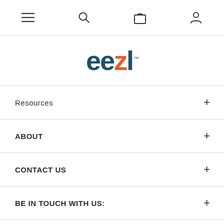Navigation bar with hamburger menu, search, cart, and user icons
[Figure (logo): eezl brand logo with orange Z and dark teal text, TM mark]
Resources
ABOUT
CONTACT US
BE IN TOUCH WITH US:
[Figure (illustration): Social media icons: Facebook, Instagram, YouTube]